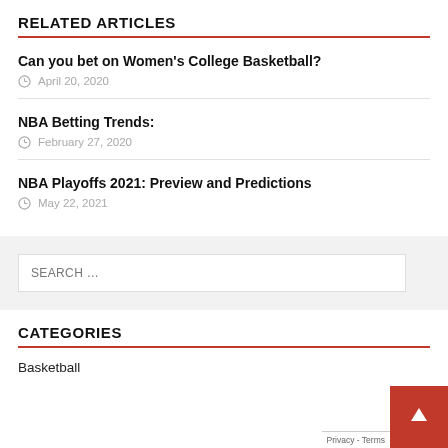RELATED ARTICLES
Can you bet on Women's College Basketball?
April 20, 2020
NBA Betting Trends:
February 27, 2020
NBA Playoffs 2021: Preview and Predictions
May 22, 2021
SEARCH ...
CATEGORIES
Basketball